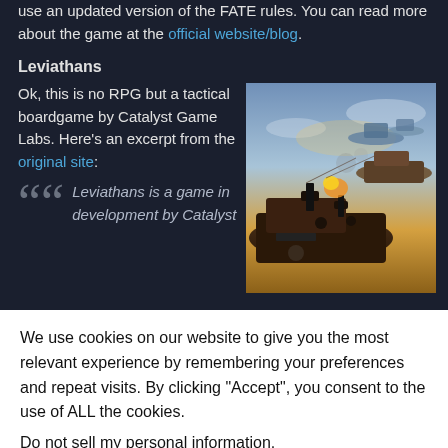use an updated version of the FATE rules. You can read more about the game at the official website/blog.
Leviathans
Ok, this is no RPG but a tactical boardgame by Catalyst Game Labs. Here’s an excerpt from the original site:
[Figure (illustration): Fantasy/steampunk airship battle scene with warships floating in a dramatic sky]
Leviathans is a game in development by Catalyst
We use cookies on our website to give you the most relevant experience by remembering your preferences and repeat visits. By clicking “Accept”, you consent to the use of ALL the cookies.
Do not sell my personal information.